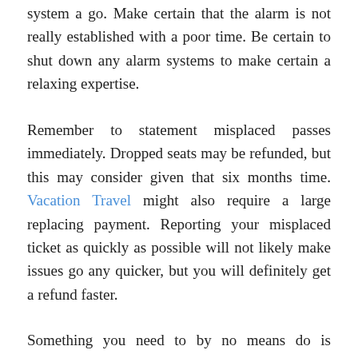system a go. Make certain that the alarm is not really established with a poor time. Be certain to shut down any alarm systems to make certain a relaxing expertise.
Remember to statement misplaced passes immediately. Dropped seats may be refunded, but this may consider given that six months time. Vacation Travel might also require a large replacing payment. Reporting your misplaced ticket as quickly as possible will not likely make issues go any quicker, but you will definitely get a refund faster.
Something you need to by no means do is location an essential file from the bank account of your chair before you. Most likely, it would slide to where you will be unable